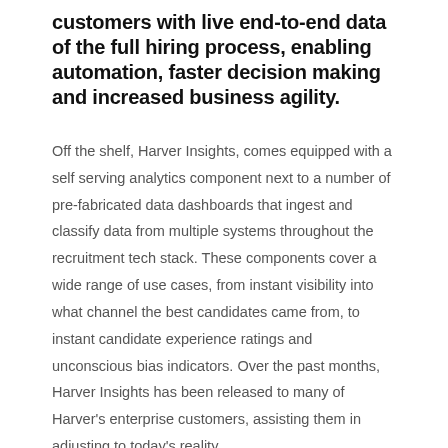customers with live end-to-end data of the full hiring process, enabling automation, faster decision making and increased business agility.
Off the shelf, Harver Insights, comes equipped with a self serving analytics component next to a number of pre-fabricated data dashboards that ingest and classify data from multiple systems throughout the recruitment tech stack. These components cover a wide range of use cases, from instant visibility into what channel the best candidates came from, to instant candidate experience ratings and unconscious bias indicators. Over the past months, Harver Insights has been released to many of Harver's enterprise customers, assisting them in adjusting to today's reality.
“Harver, at its core, is a platform that enables digital